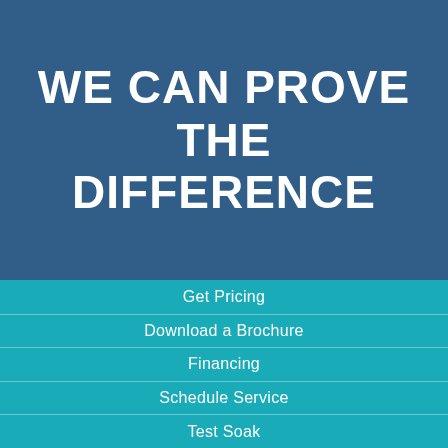WE CAN PROVE THE DIFFERENCE
Get Pricing
Download a Brochure
Financing
Schedule Service
Test Soak